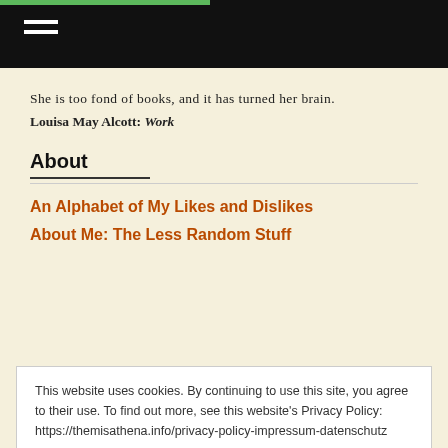Navigation bar with hamburger menu
She is too fond of books, and it has turned her brain.
Louisa May Alcott: Work
About
An Alphabet of My Likes and Dislikes
About Me: The Less Random Stuff
This website uses cookies. By continuing to use this site, you agree to their use. To find out more, see this website's Privacy Policy: https://themisathena.info/privacy-policy-impressum-datenschutz

Diese Website verwendet Cookies. Durch die Fortsetzung Ihres Besuchs stimmen Sie der Verwendung zu. Weitere Informationen finden Sie auf der Seite Impressum und Datenschutz: https://themisathena.info/privacy-policy-impressum-datenschutz Privacy & Cookie Policy
Close and accept